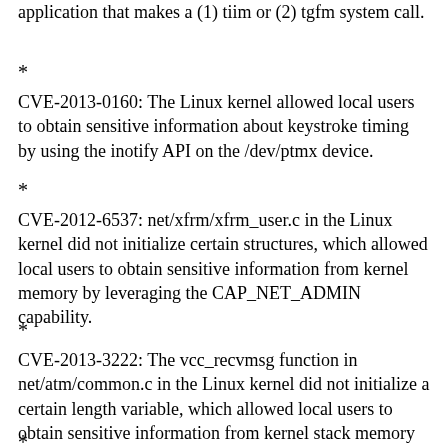application that makes a (1) tiim or (2) tgfm system call.
*
CVE-2013-0160: The Linux kernel allowed local users to obtain sensitive information about keystroke timing by using the inotify API on the /dev/ptmx device.
*
CVE-2012-6537: net/xfrm/xfrm_user.c in the Linux kernel did not initialize certain structures, which allowed local users to obtain sensitive information from kernel memory by leveraging the CAP_NET_ADMIN capability.
*
CVE-2013-3222: The vcc_recvmsg function in net/atm/common.c in the Linux kernel did not initialize a certain length variable, which allowed local users to obtain sensitive information from kernel stack memory via a crafted recvmsg or recvfrom system call.
*